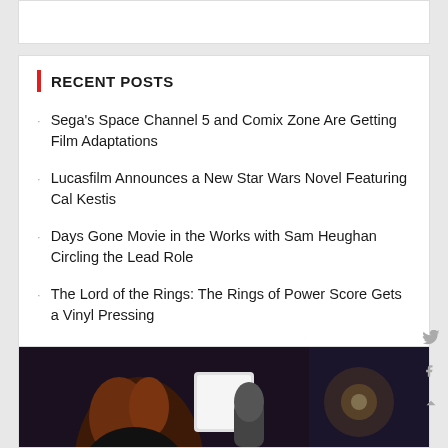RECENT POSTS
Sega's Space Channel 5 and Comix Zone Are Getting Film Adaptations
Lucasfilm Announces a New Star Wars Novel Featuring Cal Kestis
Days Gone Movie in the Works with Sam Heughan Circling the Lead Role
The Lord of the Rings: The Rings of Power Score Gets a Vinyl Pressing
Netflix Drops a Bonus Episode of The Sandman
[Figure (photo): Person holding a microphone with a light in the background]